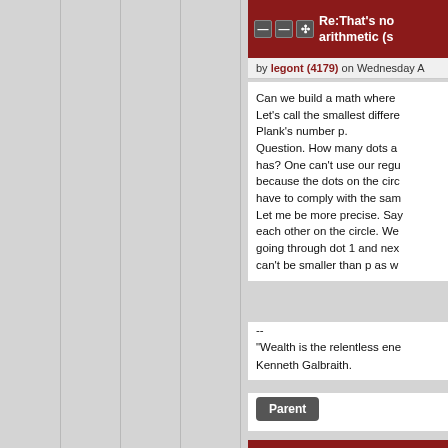Re:That's no arithmetic (s
by legont (4179) on Wednesday A
Can we build a math where Let's call the smallest diffe Plank's number p. Question. How many dots a has? One can't use our regu because the dots on the cir have to comply with the sa Let me be more precise. Sa each other on the circle. W going through dot 1 and ne can't be smaller than p as w
--
"Wealth is the relentless en Kenneth Galbraith.
Parent
Re:That's r arithmetic
by HiThere (866) on Wednesd Journal